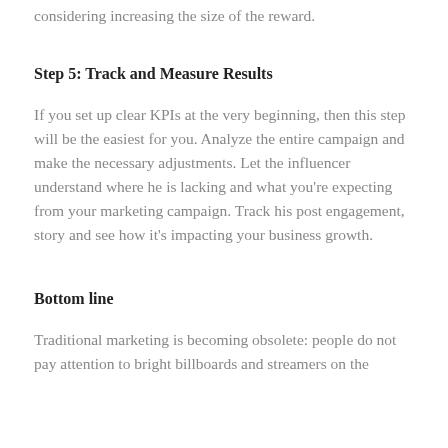considering increasing the size of the reward.
Step 5: Track and Measure Results
If you set up clear KPIs at the very beginning, then this step will be the easiest for you. Analyze the entire campaign and make the necessary adjustments. Let the influencer understand where he is lacking and what you're expecting from your marketing campaign. Track his post engagement, story and see how it's impacting your business growth.
Bottom line
Traditional marketing is becoming obsolete: people do not pay attention to bright billboards and streamers on the